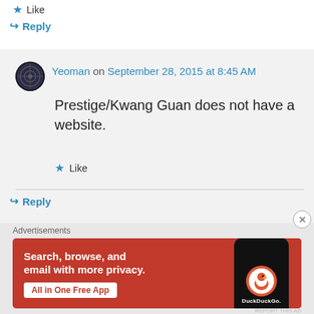★ Like
↪ Reply
Yeoman on September 28, 2015 at 8:45 AM
Prestige/Kwang Guan does not have a website.
★ Like
↪ Reply
Advertisements
[Figure (screenshot): DuckDuckGo advertisement banner on orange/red background with text 'Search, browse, and email with more privacy. All in One Free App' and a phone graphic with DuckDuckGo logo]